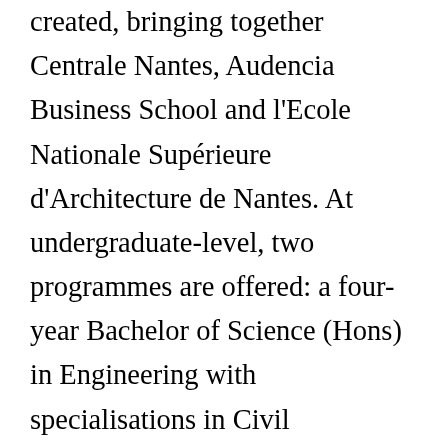created, bringing together Centrale Nantes, Audencia Business School and l'Ecole Nationale Supérieure d'Architecture de Nantes. At undergraduate-level, two programmes are offered: a four-year Bachelor of Science (Hons) in Engineering with specialisations in Civil Engineering and Mechanical engineering; and a one year Foundation Master's programme which prepare bachelor-qualified students to meet the challenges of Centrale Nantes Master's programmes. In 1991, it became, by decree published in the Official Journal, the Ecole Centrale de Nantes, joining the newly created Ecoles Centrale Group. Centrale Nantes trains 420 students per year within its